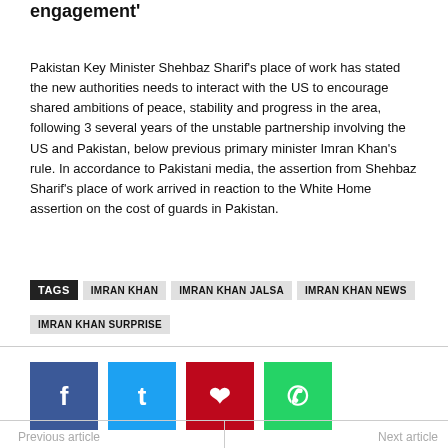engagement'
Pakistan Key Minister Shehbaz Sharif's place of work has stated the new authorities needs to interact with the US to encourage shared ambitions of peace, stability and progress in the area, following 3 several years of the unstable partnership involving the US and Pakistan, below previous primary minister Imran Khan's rule. In accordance to Pakistani media, the assertion from Shehbaz Sharif's place of work arrived in reaction to the White Home assertion on the cost of guards in Pakistan.
TAGS  IMRAN KHAN  IMRAN KHAN JALSA  IMRAN KHAN NEWS  IMRAN KHAN SURPRISE
[Figure (infographic): Social media share buttons: Facebook (blue), Twitter (cyan), Pinterest (red), WhatsApp (green)]
Previous article   Next article